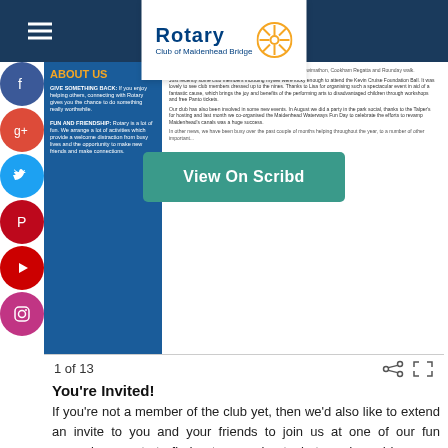Rotary Club of Maidenhead Bridge
[Figure (screenshot): Rotary Club of Maidenhead Bridge document preview showing 'About Us' section with blue left column and text on right, overlaid with a teal 'View On Scribd' button]
1 of 13
You're Invited!
If you're not a member of the club yet, then we'd also like to extend an invite to you and your friends to join us at one of our fun upcoming events to find out more about what we do and how you can get involved. Remember we're a very relaxed, flexible and friendly club so you don't have to commit huge